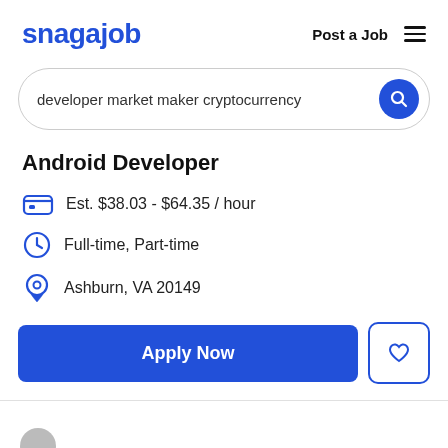snagajob  Post a Job
developer market maker cryptocurrency
Android Developer
Est. $38.03 - $64.35 / hour
Full-time, Part-time
Ashburn, VA 20149
Apply Now